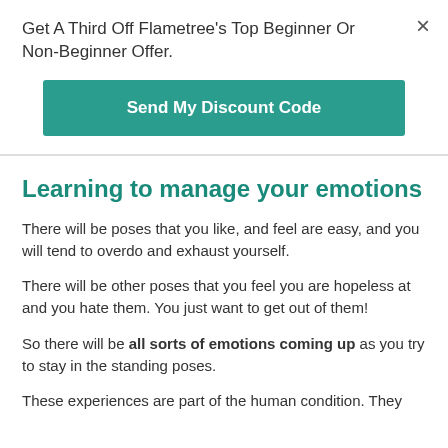Get A Third Off Flametree's Top Beginner Or Non-Beginner Offer.
Send My Discount Code
Learning to manage your emotions
There will be poses that you like, and feel are easy, and you will tend to overdo and exhaust yourself.
There will be other poses that you feel you are hopeless at and you hate them. You just want to get out of them!
So there will be all sorts of emotions coming up as you try to stay in the standing poses.
These experiences are part of the human condition. They